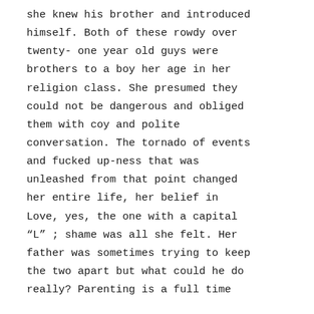she knew his brother and introduced himself. Both of these rowdy over twenty- one year old guys were brothers to a boy her age in her religion class. She presumed they could not be dangerous and obliged them with coy and polite conversation. The tornado of events and fucked up-ness that was unleashed from that point changed her entire life, her belief in Love, yes, the one with a capital “L” ; shame was all she felt. Her father was sometimes trying to keep the two apart but what could he do really? Parenting is a full time